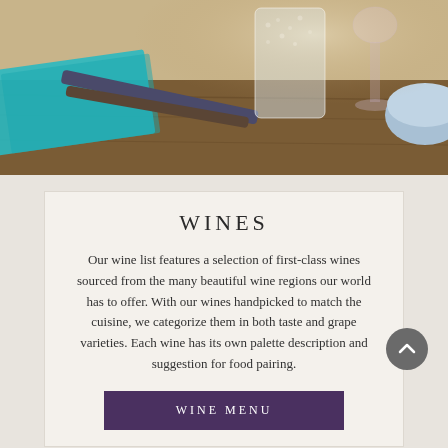[Figure (photo): Photo of a restaurant table setting with teal napkin, tongs/utensils, a textured glass, wine glass, and a blue bowl on a wooden table surface]
WINES
Our wine list features a selection of first-class wines sourced from the many beautiful wine regions our world has to offer. With our wines handpicked to match the cuisine, we categorize them in both taste and grape varieties. Each wine has its own palette description and suggestion for food pairing.
WINE MENU